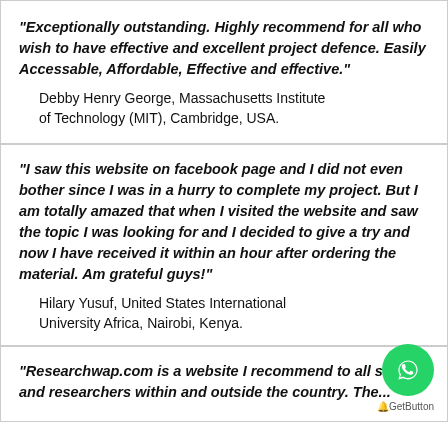"Exceptionally outstanding. Highly recommend for all who wish to have effective and excellent project defence. Easily Accessable, Affordable, Effective and effective."
Debby Henry George, Massachusetts Institute of Technology (MIT), Cambridge, USA.
"I saw this website on facebook page and I did not even bother since I was in a hurry to complete my project. But I am totally amazed that when I visited the website and saw the topic I was looking for and I decided to give a try and now I have received it within an hour after ordering the material. Am grateful guys!"
Hilary Yusuf, United States International University Africa, Nairobi, Kenya.
"Researchwap.com is a website I recommend to all student and researchers within and outside the country. The...